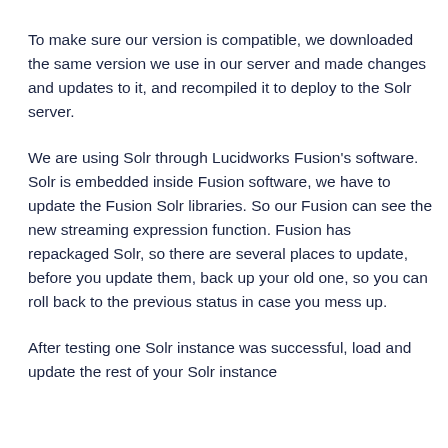To make sure our version is compatible, we downloaded the same version we use in our server and made changes and updates to it, and recompiled it to deploy to the Solr server.
We are using Solr through Lucidworks Fusion's software. Solr is embedded inside Fusion software, we have to update the Fusion Solr libraries. So our Fusion can see the new streaming expression function. Fusion has repackaged Solr, so there are several places to update, before you update them, back up your old one, so you can roll back to the previous status in case you mess up.
After testing one Solr instance was successful, load and update the rest of your Solr instance